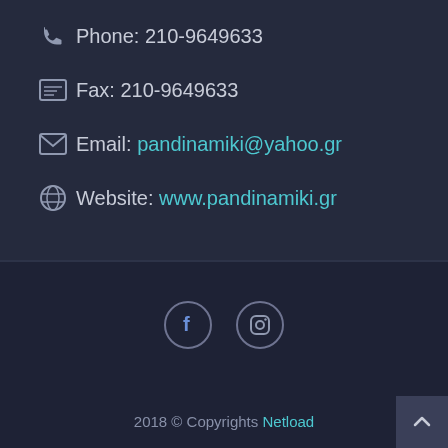Phone: 210-9649633
Fax: 210-9649633
Email: pandinamiki@yahoo.gr
Website: www.pandinamiki.gr
[Figure (illustration): Social media icons: Facebook (f) and Instagram camera icon]
2018 © Copyrights Netload